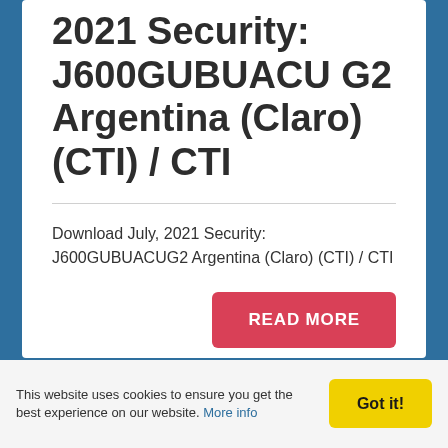2021 Security: J600GUBUACUG2 Argentina (Claro) (CTI) / CTI
Download July, 2021 Security: J600GUBUACUG2 Argentina (Claro) (CTI) / CTI
READ MORE
This website uses cookies to ensure you get the best experience on our website. More info
Got it!